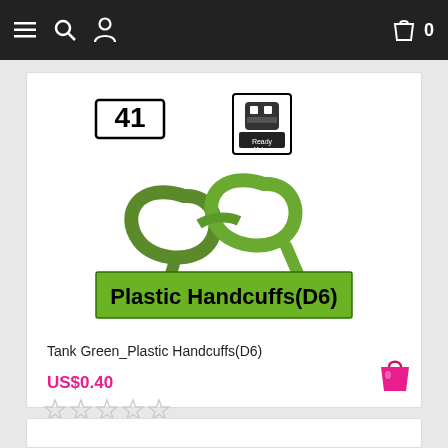Navigation bar with menu, search, profile, cart (0)
[Figure (photo): Product image: green plastic handcuffs toy with number 41 badge and a small merchant logo. Below the image is a green label reading 'Plastic Handcuffs(D6)']
Tank Green_Plastic Handcuffs(D6)
US$0.40
[Figure (other): Five empty star rating icons]
[Figure (other): Pink shopping bag add-to-cart button]